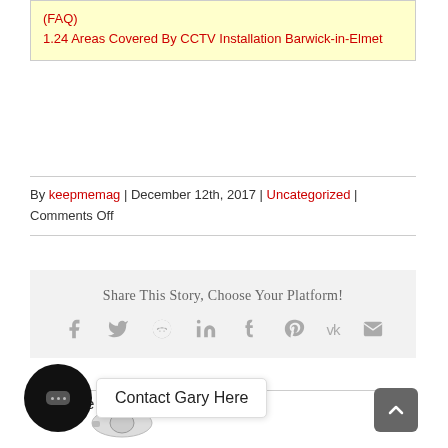(FAQ)
1.24 Areas Covered By CCTV Installation Barwick-in-Elmet
By keepmemag | December 12th, 2017 | Uncategorized | Comments Off
Share This Story, Choose Your Platform!
[Figure (other): Social sharing icons: Facebook, Twitter, Reddit, LinkedIn, Tumblr, Pinterest, VK, Email]
About the Author: keepmemag
[Figure (other): Chat widget button with speech bubble icon and Contact Gary Here tooltip; CCTV camera image at bottom left; Back to top button at bottom right]